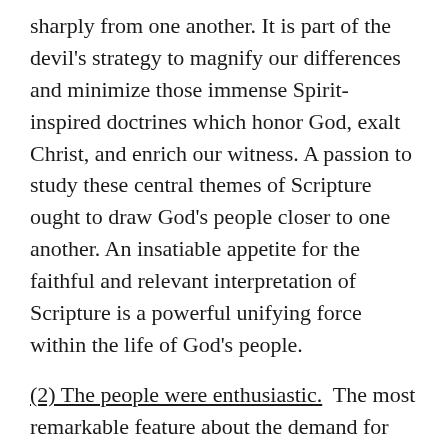sharply from one another. It is part of the devil's strategy to magnify our differences and minimize those immense Spirit-inspired doctrines which honor God, exalt Christ, and enrich our witness. A passion to study these central themes of Scripture ought to draw God's people closer to one another. An insatiable appetite for the faithful and relevant interpretation of Scripture is a powerful unifying force within the life of God's people.
(2) The people were enthusiastic.  The most remarkable feature about the demand for Scripture at this outdoor meeting was that it appears to have been initiated by the people rather than their leaders. They told Ezra the scribe to bring the Book of the Law of Moses that the Lord had commanded Israel [1]. They craved for God's Word as hungry people long for